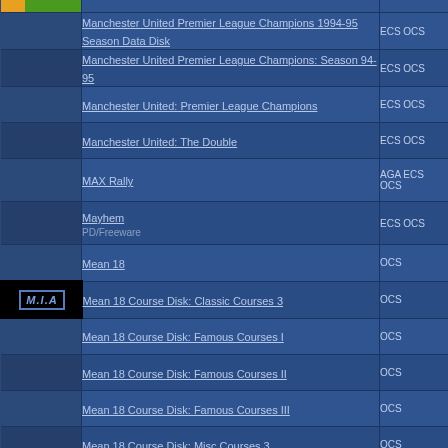| Thumbnail | Title | Tags |
| --- | --- | --- |
| [image] | Manchester United Premier League Champions 1994-95 Season Data Disk | ECS OCS |
|  | Manchester United Premier League Champions: Season 94-95 | ECS OCS |
|  | Manchester United: Premier League Champions | ECS OCS |
|  | Manchester United: The Double | ECS OCS |
|  | MAX Rally | AGA ECS OCS |
|  | Mayhem
PD/Freeware | ECS OCS |
|  | Mean 18 | OCS |
| [M.I.A] | Mean 18 Course Disk: Classic Courses 3 | OCS |
|  | Mean 18 Course Disk: Famous Courses I | OCS |
|  | Mean 18 Course Disk: Famous Courses II | OCS |
|  | Mean 18 Course Disk: Famous Courses III | OCS |
|  | Mean 18 Course Disk: Misc Courses 3 | OCS |
|  | Mean 18 Course Disk: Misc Courses 4 | OCS |
|  | Mean 18 Ultimate Golf | OCS |
|  | Mensch Rat Mal Pro | ECS OCS |